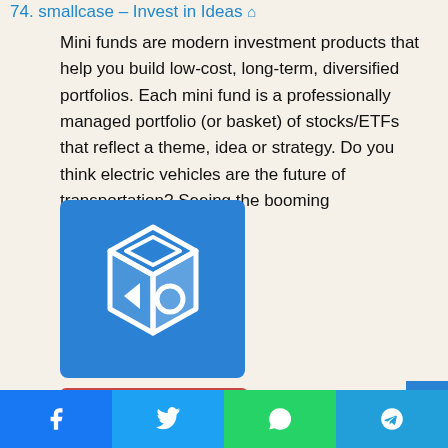74. smallcase – Invest in Ideas 🏠
Mini funds are modern investment products that help you build low-cost, long-term, diversified portfolios. Each mini fund is a professionally managed portfolio (or basket) of stocks/ETFs that reflect a theme, idea or strategy. Do you think electric vehicles are the future of transportation? Seeing the booming
[Figure (logo): smallcase logo on blue background — a 3D cube shape with diamond, triangle, and circle symbols in white]
Similarity Rate : 33 %
[Figure (infographic): Social sharing bar with Facebook, Twitter, WhatsApp, and Telegram buttons]